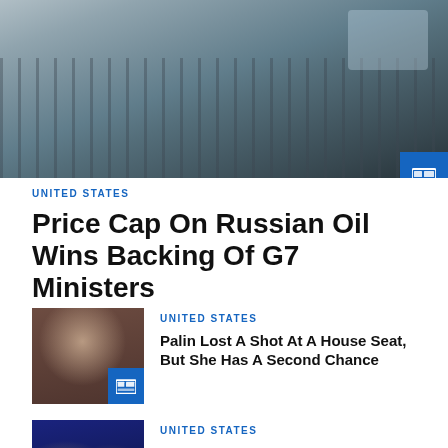[Figure (photo): Aerial view of an industrial oil/gas processing facility with pipes, tanks, and scaffolding structures, blue-grey sky in background, Gazprom logo visible on white tank]
UNITED STATES
Price Cap On Russian Oil Wins Backing Of G7 Ministers
[Figure (photo): Woman in grey blazer at podium applauding, Sarah Palin]
UNITED STATES
Palin Lost A Shot At A House Seat, But She Has A Second Chance
[Figure (photo): Two people on stage with blue/red lighting background]
UNITED STATES